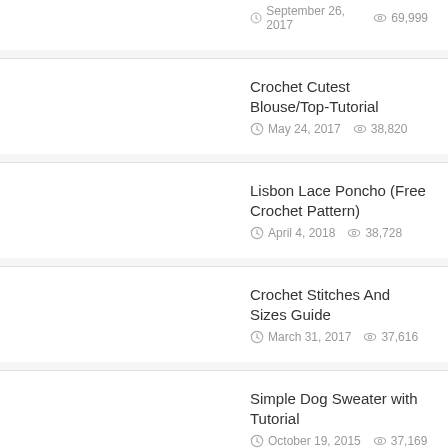September 26, 2017  69,999
Crochet Cutest Blouse/Top-Tutorial
May 24, 2017  38,820
Lisbon Lace Poncho (Free Crochet Pattern)
April 4, 2018  38,728
Crochet Stitches And Sizes Guide
March 31, 2017  37,616
Simple Dog Sweater with Tutorial
October 19, 2015  37,169
How To Crochet A Puff Flower
October 29, 2015  33,813